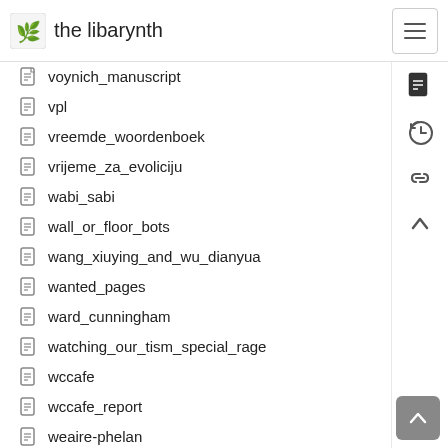the libarynth
voynich_manuscript
vpl
vreemde_woordenboek
vrijeme_za_evoliciju
wabi_sabi
wall_or_floor_bots
wang_xiuying_and_wu_dianyua
wanted_pages
ward_cunningham
watching_our_tism_special_rage
wccafe
wccafe_report
weaire-phelan
wearables_workshop_banff
wearable_computing
weathermen
weather_station
webdav